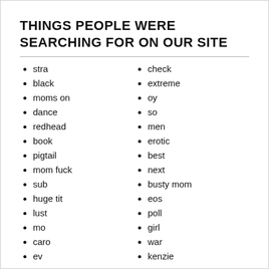THINGS PEOPLE WERE SEARCHING FOR ON OUR SITE
stra
black
moms on
dance
redhead
book
pigtail
mom fuck
sub
huge tit
lust
mo
caro
ev
check
extreme
oy
so
men
erotic
best
next
busty mom
eos
poll
girl
war
kenzie